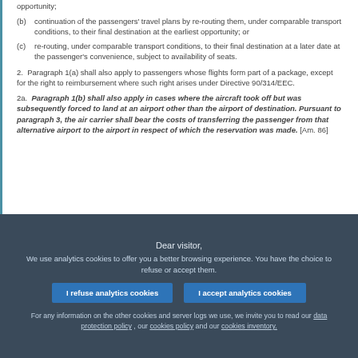opportunity;
(b) continuation of the passengers' travel plans by re-routing them, under comparable transport conditions, to their final destination at the earliest opportunity; or
(c) re-routing, under comparable transport conditions, to their final destination at a later date at the passenger's convenience, subject to availability of seats.
2.  Paragraph 1(a) shall also apply to passengers whose flights form part of a package, except for the right to reimbursement where such right arises under Directive 90/314/EEC.
2a.  Paragraph 1(b) shall also apply in cases where the aircraft took off but was subsequently forced to land at an airport other than the airport of destination. Pursuant to paragraph 3, the air carrier shall bear the costs of transferring the passenger from that alternative airport to the airport in respect of which the reservation was made. [Am. 86]
Dear visitor, We use analytics cookies to offer you a better browsing experience. You have the choice to refuse or accept them. I refuse analytics cookies I accept analytics cookies For any information on the other cookies and server logs we use, we invite you to read our data protection policy , our cookies policy and our cookies inventory.